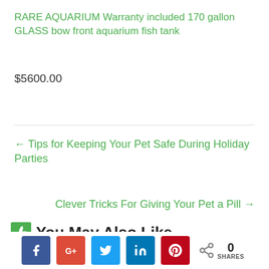RARE AQUARIUM Warranty included 170 gallon GLASS bow front aquarium fish tank
$5600.00
← Tips for Keeping Your Pet Safe During Holiday Parties
Clever Tricks For Giving Your Pet a Pill →
You May Also Like
[Figure (other): Social sharing buttons: Facebook, Google+, Twitter, LinkedIn, Pinterest, and share count showing 0 SHARES]